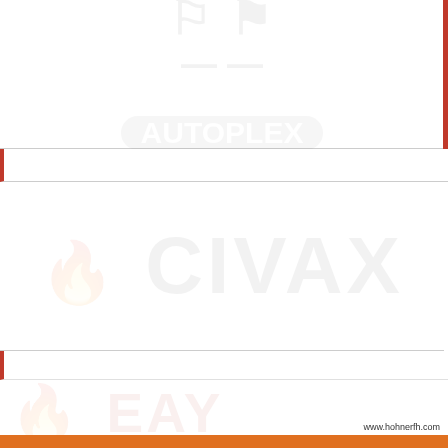[Figure (logo): Faded watermark logo in top section, appears to show shield/crest imagery with text underneath, very light gray]
[Figure (logo): Faded watermark in middle section showing large text CIVAX or similar word with a flame/torch icon to left, very light gray]
[Figure (logo): Faded watermark in bottom section showing flame/torch icon and large text, very light red/orange tint]
www.hohnerfh.com